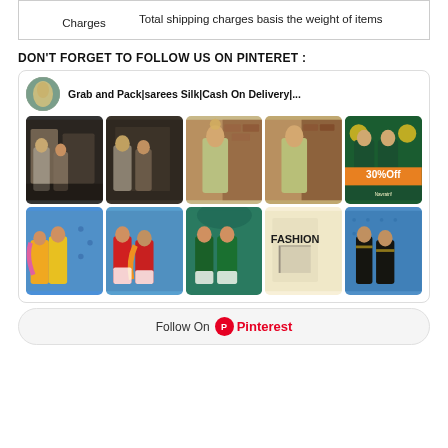|  |  |
| --- | --- |
| Charges | Total shipping charges basis the weight of items |
DON'T FORGET TO FOLLOW US ON PINTERET :
[Figure (screenshot): Pinterest card showing 'Grab and Pack|sarees Silk|Cash On Delivery|...' profile with two rows of fashion product images]
Follow On Pinterest